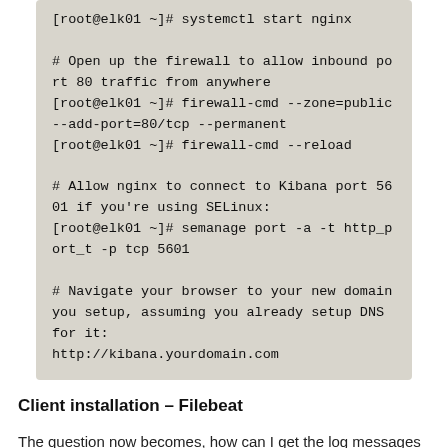[root@elk01 ~]# systemctl start nginx

# Open up the firewall to allow inbound port 80 traffic from anywhere
[root@elk01 ~]# firewall-cmd --zone=public --add-port=80/tcp --permanent
[root@elk01 ~]# firewall-cmd --reload

# Allow nginx to connect to Kibana port 5601 if you're using SELinux:
[root@elk01 ~]# semanage port -a -t http_port_t -p tcp 5601

# Navigate your browser to your new domain you setup, assuming you already setup DNS for it:
http://kibana.yourdomain.com
Client installation – Filebeat
The question now becomes, how can I get the log messages from other servers into our Elastic Stack